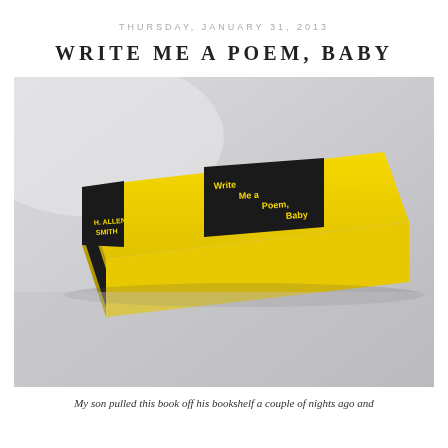THURSDAY, JANUARY 31, 2013
WRITE ME A POEM, BABY
[Figure (photo): A yellow hardcover book lying flat on a white surface, viewed at an angle showing the spine. The spine reads 'H. Allen Smith' and 'Write Me a Poem, Baby' with 'Little, Brown' publisher. There is a small illustrated character on the spine.]
My son pulled this book off his bookshelf a couple of nights ago and